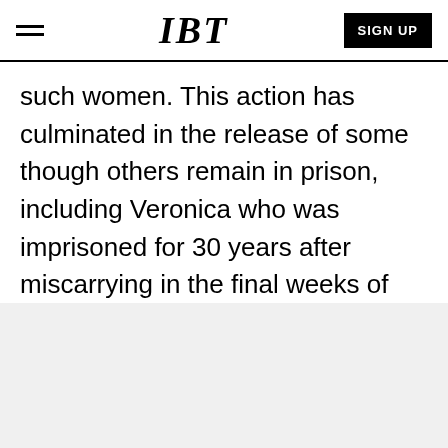IBT | SIGN UP
such women. This action has culminated in the release of some though others remain in prison, including Veronica who was imprisoned for 30 years after miscarrying in the final weeks of her pregnancy, which occurred as a result of rape. She was 19 at the time and has served 11 years of her sentence.